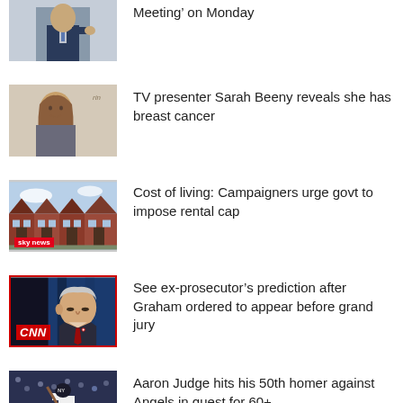Meeting' on Monday
TV presenter Sarah Beeny reveals she has breast cancer
Cost of living: Campaigners urge govt to impose rental cap
See ex-prosecutor's prediction after Graham ordered to appear before grand jury
Aaron Judge hits his 50th homer against Angels in quest for 60+